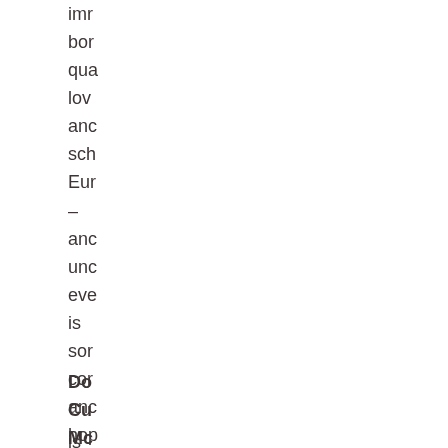imr
bor
qua
lov
anc
sch
Eur
–
anc
unc
eve
is
sor
cor
anc
hop
Do
Cu
Mc
is
a
Ca
wri